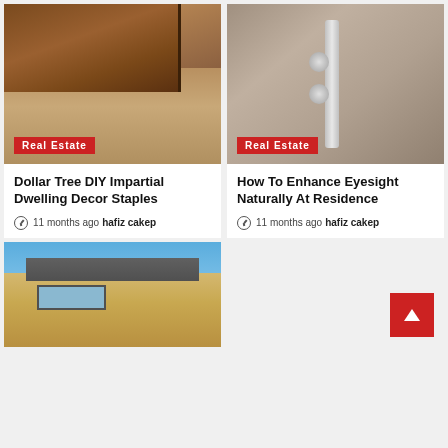[Figure (photo): Kitchen interior with wooden cabinets and tiled floor]
[Figure (photo): Shower panel with chrome fixtures on marble wall]
Real Estate
Real Estate
Dollar Tree DIY Impartial Dwelling Decor Staples
How To Enhance Eyesight Naturally At Residence
11 months ago hafiz cakep
11 months ago hafiz cakep
[Figure (photo): Modern house exterior with yellow walls and blue sky]